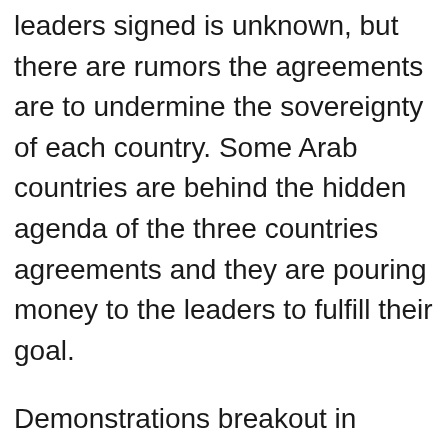leaders signed is unknown, but there are rumors the agreements are to undermine the sovereignty of each country. Some Arab countries are behind the hidden agenda of the three countries agreements and they are pouring money to the leaders to fulfill their goal.
Demonstrations breakout in Mogadishu the capital of Somalia and they are spreading to other towns. On a video we watched on social media the people were tearing photos of President Mohamed Abdullah and Prime